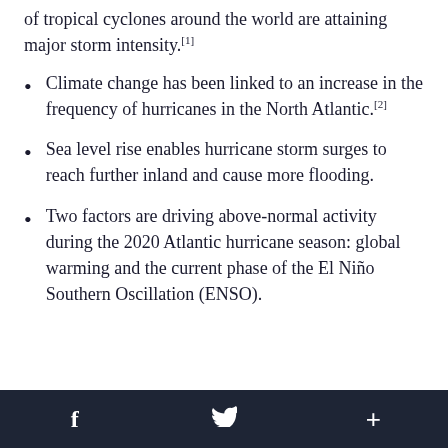of tropical cyclones around the world are attaining major storm intensity.[1]
Climate change has been linked to an increase in the frequency of hurricanes in the North Atlantic.[2]
Sea level rise enables hurricane storm surges to reach further inland and cause more flooding.
Two factors are driving above-normal activity during the 2020 Atlantic hurricane season: global warming and the current phase of the El Niño Southern Oscillation (ENSO).
f  [twitter]  +